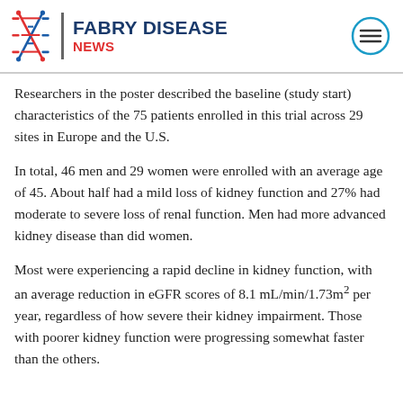FABRY DISEASE NEWS
Researchers in the poster described the baseline (study start) characteristics of the 75 patients enrolled in this trial across 29 sites in Europe and the U.S.
In total, 46 men and 29 women were enrolled with an average age of 45. About half had a mild loss of kidney function and 27% had moderate to severe loss of renal function. Men had more advanced kidney disease than did women.
Most were experiencing a rapid decline in kidney function, with an average reduction in eGFR scores of 8.1 mL/min/1.73m² per year, regardless of how severe their kidney impairment. Those with poorer kidney function were progressing somewhat faster than the others.